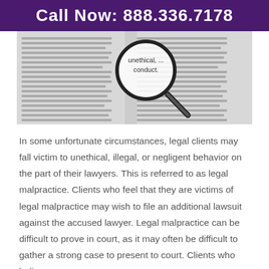Call Now: 888.336.7178
[Figure (photo): Black and white photo of an open book with a magnifying glass over text reading 'unethical, ... conduct.']
In some unfortunate circumstances, legal clients may fall victim to unethical, illegal, or negligent behavior on the part of their lawyers. This is referred to as legal malpractice. Clients who feel that they are victims of legal malpractice may wish to file an additional lawsuit against the accused lawyer. Legal malpractice can be difficult to prove in court, as it may often be difficult to gather a strong case to present to court. Clients who believe